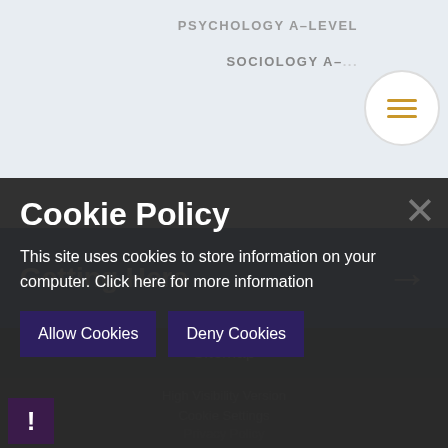PSYCHOLOGY A-LEVEL
SOCIOLOGY A-LEVEL
Getting Here
Sitemap
High Visibility Version
Cookie Settings
Privacy Policy
Cookie Policy
This site uses cookies to store information on your computer. Click here for more information
Allow Cookies
Deny Cookies